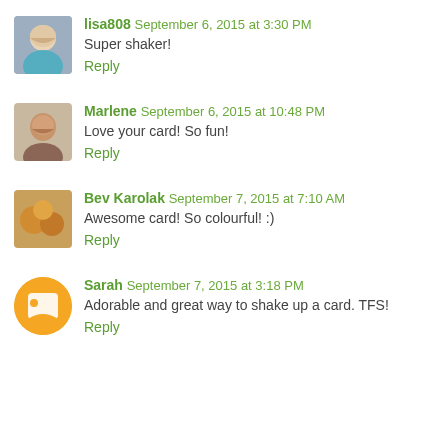lisa808  September 6, 2015 at 3:30 PM
Super shaker!
Reply
Marlene  September 6, 2015 at 10:48 PM
Love your card! So fun!
Reply
Bev Karolak  September 7, 2015 at 7:10 AM
Awesome card! So colourful! :)
Reply
Sarah  September 7, 2015 at 3:18 PM
Adorable and great way to shake up a card. TFS!
Reply